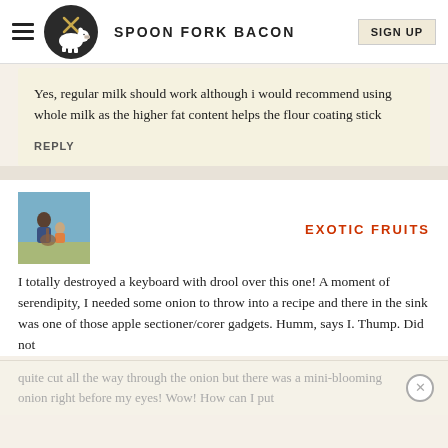SPOON FORK BACON | SIGN UP
Yes, regular milk should work although i would recommend using whole milk as the higher fat content helps the flour coating stick
REPLY
EXOTIC FRUITS
I totally destroyed a keyboard with drool over this one! A moment of serendipity, I needed some onion to throw into a recipe and there in the sink was one of those apple sectioner/corer gadgets. Humm, says I. Thump. Did not
quite cut all the way through the onion but there was a mini-blooming onion right before my eyes! Wow! How can I put